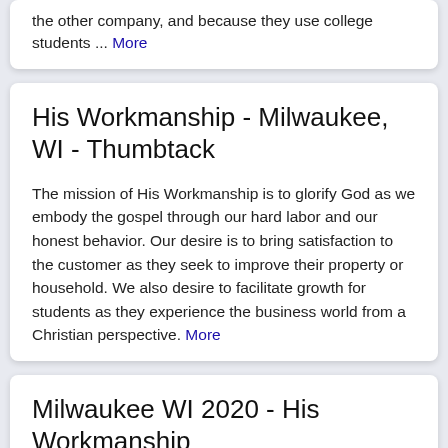the other company, and because they use college students ... More
His Workmanship - Milwaukee, WI - Thumbtack
The mission of His Workmanship is to glorify God as we embody the gospel through our hard labor and our honest behavior. Our desire is to bring satisfaction to the customer as they seek to improve their property or household. We also desire to facilitate growth for students as they experience the business world from a Christian perspective. More
Milwaukee WI 2020 - His Workmanship